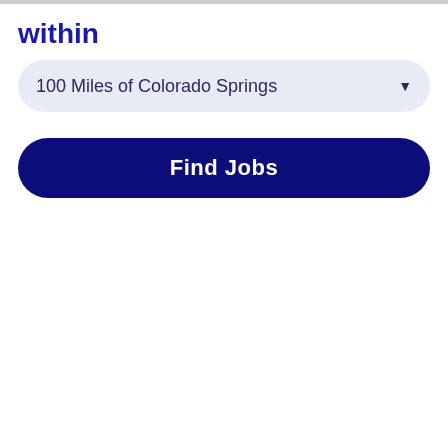within
100 Miles of Colorado Springs
Find Jobs